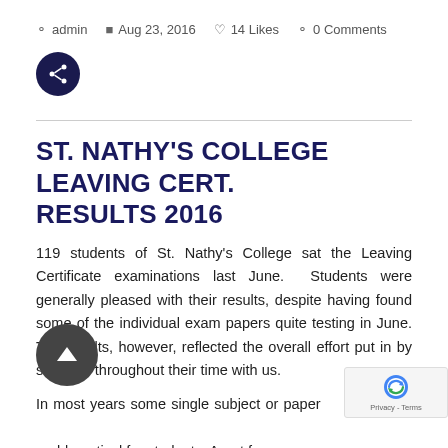admin   Aug 23, 2016   14 Likes   0 Comments
ST. NATHY'S COLLEGE LEAVING CERT. RESULTS 2016
119 students of St. Nathy's College sat the Leaving Certificate examinations last June.  Students were generally pleased with their results, despite having found some of the individual exam papers quite testing in June. The results, however, reflected the overall effort put in by students throughout their time with us.

In most years some single subject or paper problematical for students. Apart from some conce... June, eventhe manner in which a number of question...